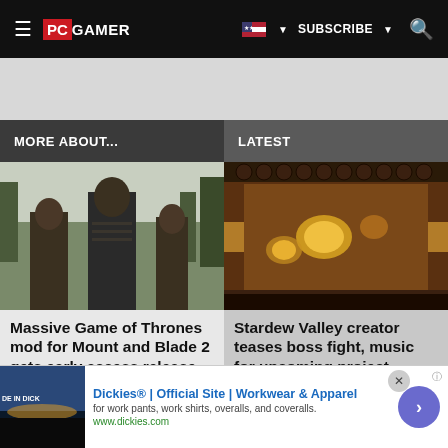PC GAMER | SUBSCRIBE | Search
MORE ABOUT...
LATEST
[Figure (photo): Three armored medieval warriors standing outdoors with trees in background, from Mount and Blade 2 game mod]
Massive Game of Thrones mod for Mount and Blade 2 gets early access release ▶
[Figure (screenshot): Top-down pixel art game screenshot showing a dungeon room with glowing yellow enemies, from Haunted project]
Stardew Valley creator teases boss fight, music for upcoming project Haunted
[Figure (photo): Advertisement thumbnail showing outdoor landscape at dusk with MADE IN DICKIES text]
Dickies® | Official Site | Workwear & Apparel
for work pants, work shirts, overalls, and coveralls.
www.dickies.com